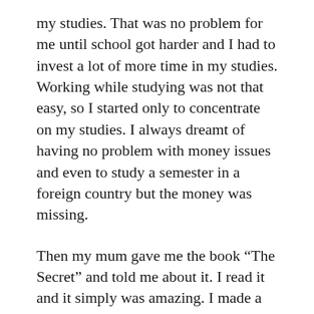my studies. That was no problem for me until school got harder and I had to invest a lot of more time in my studies. Working while studying was not that easy, so I started only to concentrate on my studies. I always dreamt of having no problem with money issues and even to study a semester in a foreign country but the money was missing.
Then my mum gave me the book “The Secret” and told me about it. I read it and it simply was amazing. I made a 500 Euro bill out of a piece of paper and hung it on the wall next to my desk. That sum of money every month would enormously help me with my living costs.